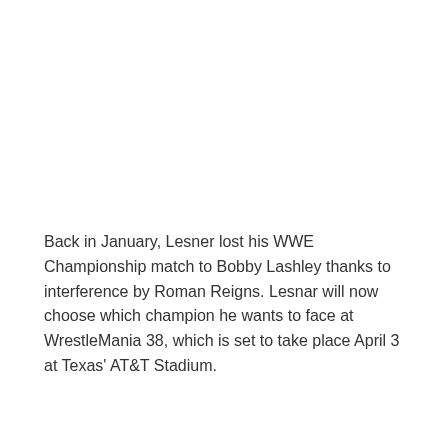Back in January, Lesner lost his WWE Championship match to Bobby Lashley thanks to interference by Roman Reigns. Lesnar will now choose which champion he wants to face at WrestleMania 38, which is set to take place April 3 at Texas' AT&T Stadium.